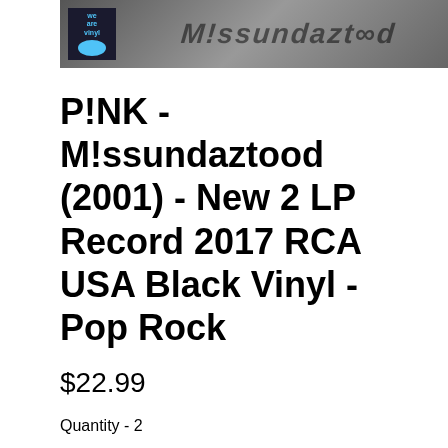[Figure (photo): Product image showing a vinyl record store badge on the left and graffiti-style text on the right reading M!ssundaztood]
P!NK - M!ssundaztood (2001) - New 2 LP Record 2017 RCA USA Black Vinyl - Pop Rock
$22.99
Quantity - 2
Add to Cart
P!NK - M!ss...